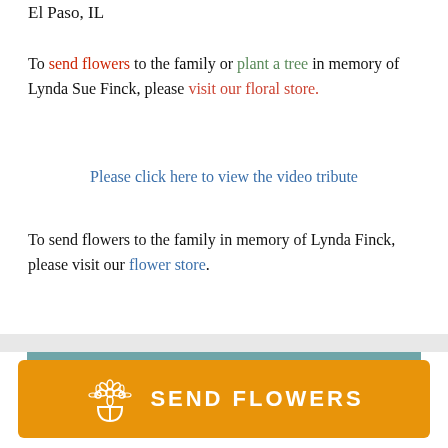El Paso, IL
To send flowers to the family or plant a tree in memory of Lynda Sue Finck, please visit our floral store.
Please click here to view the video tribute
To send flowers to the family in memory of Lynda Finck, please visit our flower store.
[Figure (infographic): Teal banner with card icon and partial text SEND A CARD]
[Figure (infographic): Orange button with flower bouquet icon and text SEND FLOWERS]